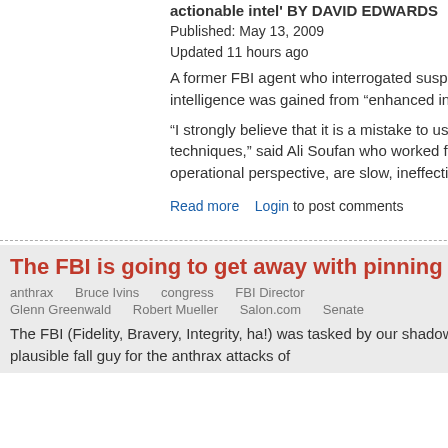actionable intel' BY DAVID EDWARDS
Published: May 13, 2009
Updated 11 hours ago
A former FBI agent who interrogated suspected terrorists told a Senate panel Wednesday that no actionable intelligence was gained from “enhanced interrogations” such as waterboarding.
“I strongly believe that it is a mistake to use what has become known as enhanced interrogation techniques,” said Ali Soufan who worked for the FBI from 1997 to 2005. “These techniques, from an operational perspective, are slow, ineffective, unreliable, and harmed our efforts to defeat al Qaeda.”
Read more   Login to post comments
Sheila Casey  wed, 09/17/2008 - 10:3
The FBI is going to get away with pinning it on Ivins
anthrax   Bruce Ivins   congress   FBI Director
Glenn Greenwald   Robert Mueller   Salon.com   Senate
The FBI (Fidelity, Bravery, Integrity, ha!) was tasked by our shadow government overlords with finding a semi-plausible fall guy for the anthrax attacks of
For The Release Of The 28 Redacted Pages
NY1 coverage of the High-Rise Safety Initiative
Counter Intelligence
-
-
The Interview